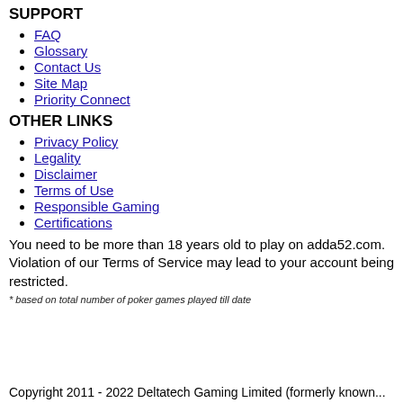SUPPORT
FAQ
Glossary
Contact Us
Site Map
Priority Connect
OTHER LINKS
Privacy Policy
Legality
Disclaimer
Terms of Use
Responsible Gaming
Certifications
You need to be more than 18 years old to play on adda52.com. Violation of our Terms of Service may lead to your account being restricted.
* based on total number of poker games played till date
Copyright 2011 - 2022 Deltatech Gaming Limited (formerly known...